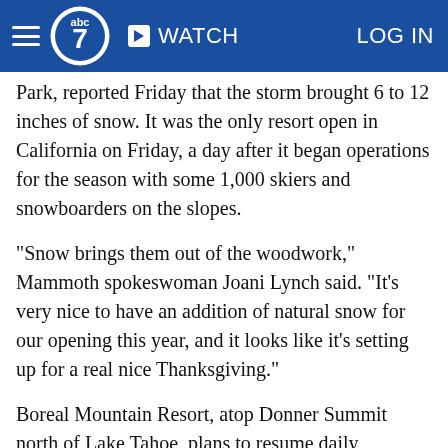ABC7 News — WATCH | LOG IN
Park, reported Friday that the storm brought 6 to 12 inches of snow. It was the only resort open in California on Friday, a day after it began operations for the season with some 1,000 skiers and snowboarders on the slopes.
"Snow brings them out of the woodwork," Mammoth spokeswoman Joani Lynch said. "It's very nice to have an addition of natural snow for our opening this year, and it looks like it's setting up for a real nice Thanksgiving."
Boreal Mountain Resort, atop Donner Summit north of Lake Tahoe, plans to resume daily operations Saturday afternoon after receiving 8 inches of new snow. It opened for six days beginning on Oct. 26, then suspended operations due to a lack of snow.
"With this new snow, plans to resume operations for the...